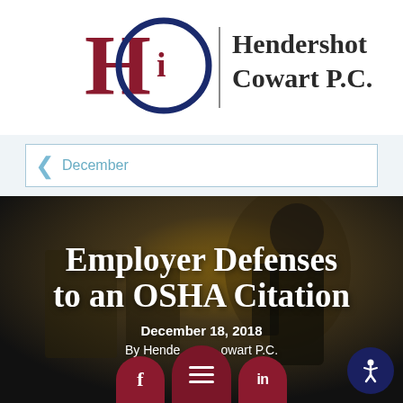[Figure (logo): Hendershot Cowart P.C. law firm logo — stylized HC monogram in dark red and navy blue, with firm name in dark serif text]
December
[Figure (photo): Worker in protective gear and face mask in industrial setting, dark background, used as article banner image]
Employer Defenses to an OSHA Citation
December 18, 2018
By Hendershot Cowart P.C.